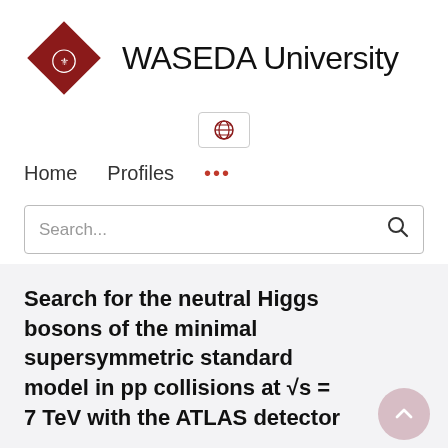[Figure (logo): Waseda University logo: dark red diamond shape with a small white crest/emblem inside, next to the text WASEDA University in large sans-serif font]
[Figure (other): Globe icon inside a small rounded rectangle border, centered on the page]
Home   Profiles   ...
Search...
Search for the neutral Higgs bosons of the minimal supersymmetric standard model in pp collisions at √s = 7 TeV with the ATLAS detector